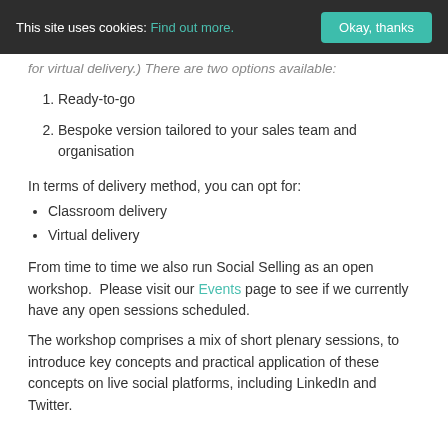This site uses cookies: Find out more. | Okay, thanks
for virtual delivery.) There are two options available:
1. Ready-to-go
2. Bespoke version tailored to your sales team and organisation
In terms of delivery method, you can opt for:
Classroom delivery
Virtual delivery
From time to time we also run Social Selling as an open workshop. Please visit our Events page to see if we currently have any open sessions scheduled.
The workshop comprises a mix of short plenary sessions, to introduce key concepts and practical application of these concepts on live social platforms, including LinkedIn and Twitter.